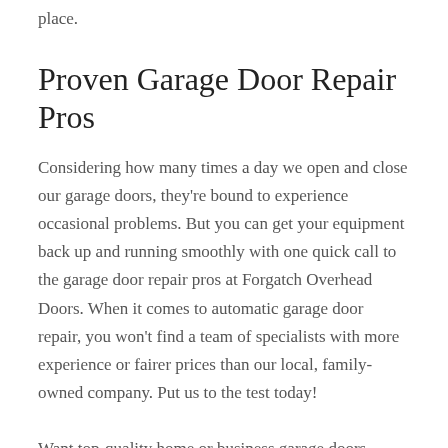place.
Proven Garage Door Repair Pros
Considering how many times a day we open and close our garage doors, they're bound to experience occasional problems. But you can get your equipment back up and running smoothly with one quick call to the garage door repair pros at Forgatch Overhead Doors. When it comes to automatic garage door repair, you won't find a team of specialists with more experience or fairer prices than our local, family-owned company. Put us to the test today!
Want top-quality home or business garage doors